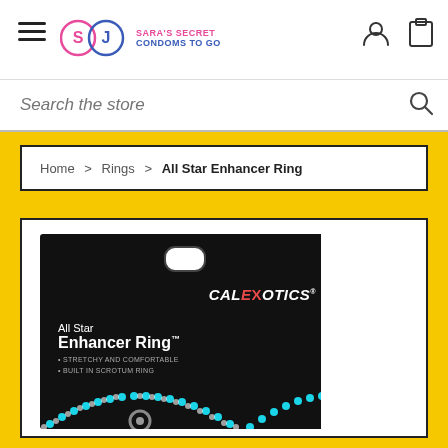Sara's Secret Condoms To Go — navigation header with hamburger menu, logo, user icon, cart icon
Search the store
Home > Rings > All Star Enhancer Ring
[Figure (photo): Product photo of CalExotics All Star Enhancer Ring in black retail packaging. Package shows brand name CALEXOTICS in white/red italic font, product name 'All Star Enhancer Ring™', bullet points: STRETCHY AND COMFORTABLE, BUILT IN SCROTUM RING. Bottom of package shows teal dotted ring pattern.]